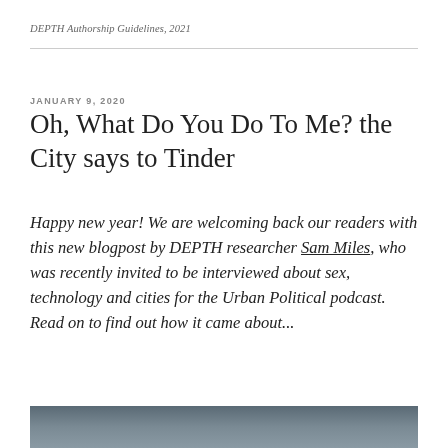DEPTH Authorship Guidelines, 2021
JANUARY 9, 2020
Oh, What Do You Do To Me? the City says to Tinder
Happy new year! We are welcoming back our readers with this new blogpost by DEPTH researcher Sam Miles, who was recently invited to be interviewed about sex, technology and cities for the Urban Political podcast. Read on to find out how it came about...
[Figure (photo): Partial view of a dark grey/blue gradient image at the bottom of the page]